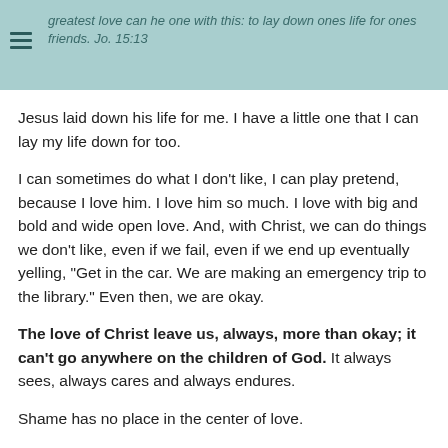greatest love can he one with this: to lay down ones life for ones friends. Jo. 15:13
Jesus laid down his life for me. I have a little one that I can lay my life down for too.
I can sometimes do what I don't like, I can play pretend, because I love him. I love him so much. I love with big and bold and wide open love. And, with Christ, we can do things we don't like, even if we fail, even if we end up eventually yelling, "Get in the car. We are making an emergency trip to the library." Even then, we are okay.
The love of Christ leave us, always, more than okay; it can't go anywhere on the children of God. It always sees, always cares and always endures.
Shame has no place in the center of love.